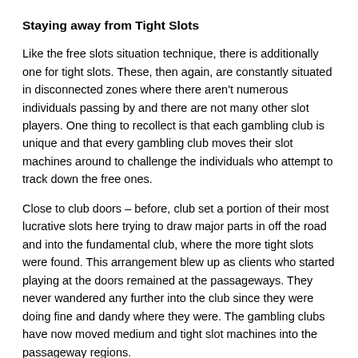Staying away from Tight Slots
Like the free slots situation technique, there is additionally one for tight slots. These, then again, are constantly situated in disconnected zones where there aren't numerous individuals passing by and there are not many other slot players. One thing to recollect is that each gambling club is unique and that every gambling club moves their slot machines around to challenge the individuals who attempt to track down the free ones.
Close to club doors – before, club set a portion of their most lucrative slots here trying to draw major parts in off the road and into the fundamental club, where the more tight slots were found. This arrangement blew up as clients who started playing at the doors remained at the passageways. They never wandered any further into the club since they were doing fine and dandy where they were. The gambling clubs have now moved medium and tight slot machines into the passageway regions.